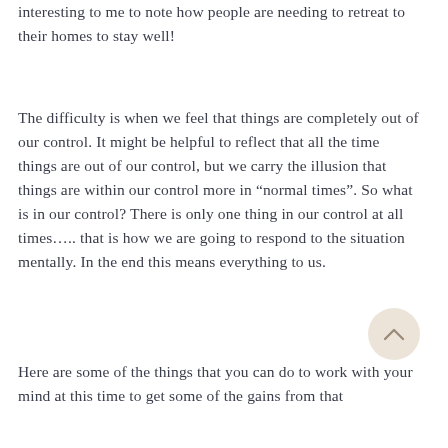interesting to me to note how people are needing to retreat to their homes to stay well!
The difficulty is when we feel that things are completely out of our control. It might be helpful to reflect that all the time things are out of our control, but we carry the illusion that things are within our control more in “normal times”. So what is in our control? There is only one thing in our control at all times….. that is how we are going to respond to the situation mentally. In the end this means everything to us.
Here are some of the things that you can do to work with your mind at this time to get some of the gains from that